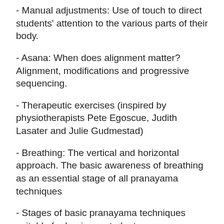- Manual adjustments: Use of touch to direct students' attention to the various parts of their body.
- Asana: When does alignment matter? Alignment, modifications and progressive sequencing.
- Therapeutic exercises (inspired by physiotherapists Pete Egoscue, Judith Lasater and Julie Gudmestad)
- Breathing: The vertical and horizontal approach. The basic awareness of breathing as an essential stage of all pranayama techniques
- Stages of basic pranayama techniques suitable for beginner students.